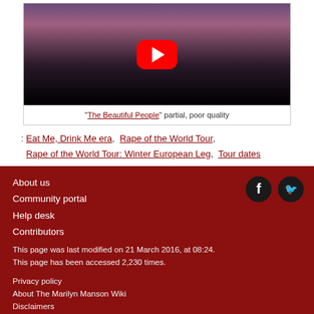[Figure (screenshot): YouTube video thumbnail showing a concert scene with a red YouTube play button overlay]
"The Beautiful People" partial, poor quality
: Eat Me, Drink Me era, Rape of the World Tour, Rape of the World Tour: Winter European Leg, Tour dates
About us
Community portal
Help desk
Contributors

This page was last modified on 21 March 2016, at 08:24.
This page has been accessed 2,230 times.

Privacy policy
About The Marilyn Manson Wiki
Disclaimers